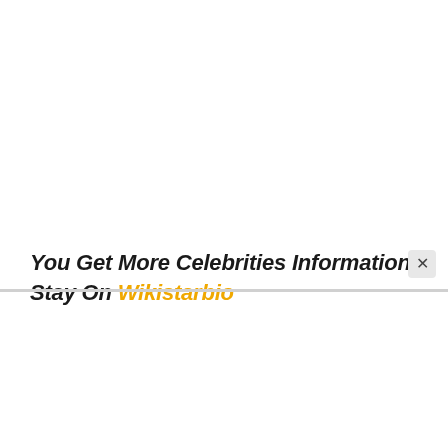You Get More Celebrities Information Stay On Wikistarbio